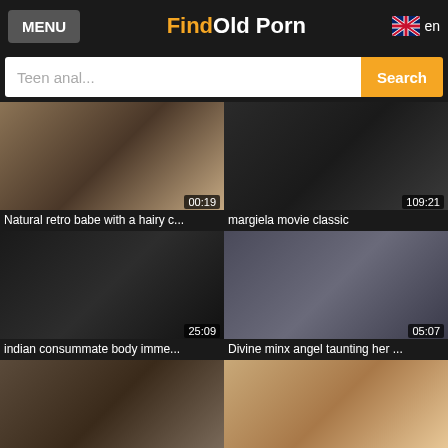MENU | FindOld Porn | en
Teen anal... Search
[Figure (screenshot): Video thumbnail 1 - duration 00:19]
Natural retro babe with a hairy c...
[Figure (screenshot): Video thumbnail 2 - duration 109:21]
margiela movie classic
[Figure (screenshot): Video thumbnail 3 - duration 25:09]
indian consummate body imme...
[Figure (screenshot): Video thumbnail 4 - duration 05:07]
Divine minx angel taunting her ...
[Figure (screenshot): Video thumbnail 5 - partial, bottom of page]
[Figure (screenshot): Video thumbnail 6 - partial, bottom of page]